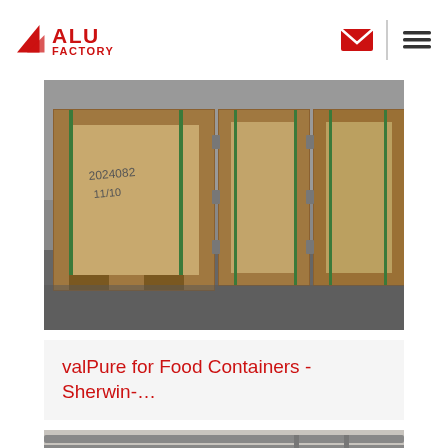ALU FACTORY
[Figure (photo): Wooden crates/boxes stacked in a warehouse, showing packaged aluminum products with green strapping bands]
valPure for Food Containers - Sherwin-…
[Figure (photo): Interior of a factory/warehouse with industrial cranes on ceiling rails, machinery and wooden crates on the floor, workers visible in background, with a 'TOP' watermark in the bottom right]